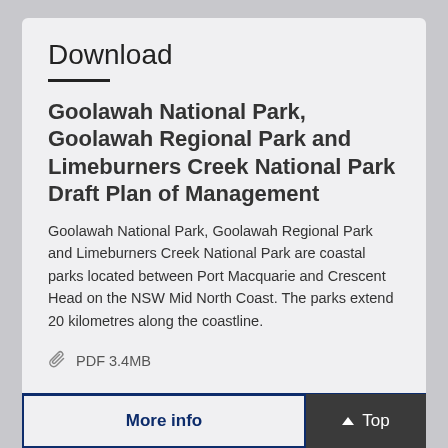Download
Goolawah National Park, Goolawah Regional Park and Limeburners Creek National Park Draft Plan of Management
Goolawah National Park, Goolawah Regional Park and Limeburners Creek National Park are coastal parks located between Port Macquarie and Crescent Head on the NSW Mid North Coast. The parks extend 20 kilometres along the coastline.
PDF 3.4MB
Download
More info
Top